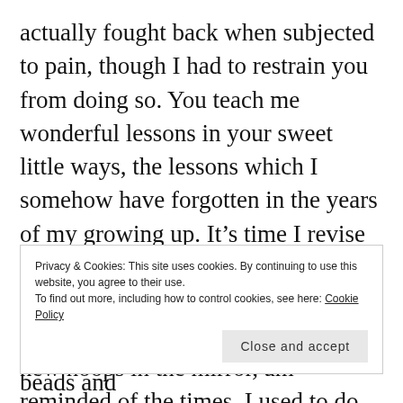actually fought back when subjected to pain, though I had to restrain you from doing so. You teach me wonderful lessons in your sweet little ways, the lessons which I somehow have forgotten in the years of my growing up. It’s time I revise them with you.

As I see you admire yourself and the new hoops in the mirror, am reminded of the times, I used to do the same for I was way
Privacy & Cookies: This site uses cookies. By continuing to use this website, you agree to their use.
To find out more, including how to control cookies, see here: Cookie Policy
Close and accept
sparkling trinkets, danglers, hoops, beads and